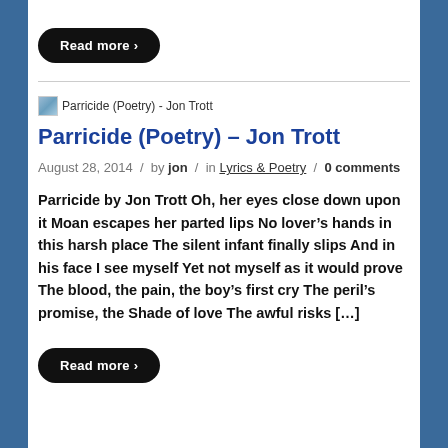[Figure (other): Read more button (black rounded pill button with white text 'Read more >')]
[Figure (other): Thumbnail image placeholder for Parricide (Poetry) - Jon Trott]
Parricide (Poetry) – Jon Trott
August 28, 2014  /  by jon  /  in Lyrics & Poetry  /  0 comments
Parricide by Jon Trott Oh, her eyes close down upon it Moan escapes her parted lips No lover's hands in this harsh place The silent infant finally slips And in his face I see myself Yet not myself as it would prove The blood, the pain, the boy's first cry The peril's promise, the Shade of love The awful risks [...]
[Figure (other): Read more button (black rounded pill button with white text 'Read more >')]